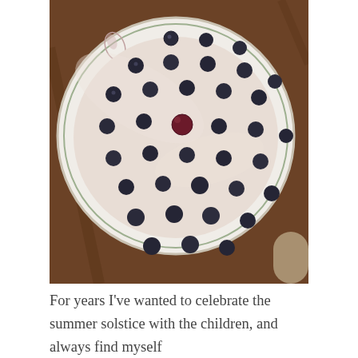[Figure (photo): Top-down view of a round frosted cake on a decorative plate, with dark berries (blueberries/dark grapes) arranged in a grid pattern on top of white cream frosting. One larger dark red berry sits in the center. The plate and cake rest on a wooden surface. A pale round object is visible at the bottom right corner.]
For years I've wanted to celebrate the summer solstice with the children, and always find myself